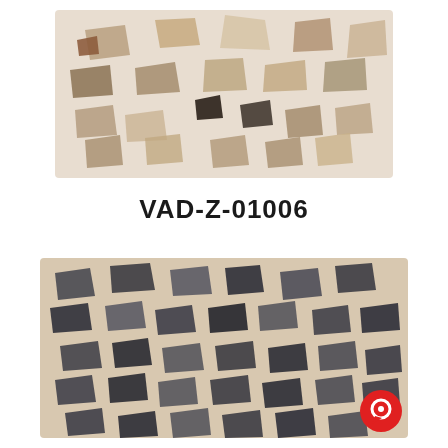[Figure (photo): Terrazzo tile sample with large irregular beige, brown, and dark stone chips on a white/cream cement background]
VAD-Z-01006
[Figure (photo): Terrazzo tile sample with large irregular dark grey and black stone chips on a beige/cream cement background, with a red circular chat icon in the bottom-right corner]